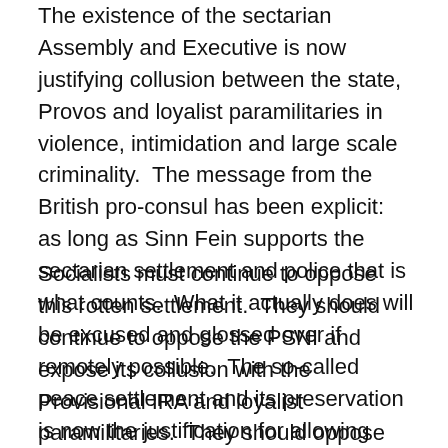The existence of the sectarian Assembly and Executive is now justifying collusion between the state, Provos and loyalist paramilitaries in violence, intimidation and large scale criminality.  The message from the British pro-consul has been explicit:  as long as Sinn Fein supports the sectarian settlement and police that is what counts.  What it actually does will be excused and glossed over if remotely possible.  The so-called peace settlement and its preservation is now the justification for allowing political and criminal violence.
Socialists must continue to oppose this rotten settlement.  They should continue to oppose the PSNI and expose its collusion with the Provisional IRA and loyalist paramilitaries.  They should oppose the austerity imposed by the British Government and the Stormont parties, especially Sinn Fein and its phoney anti-austerity